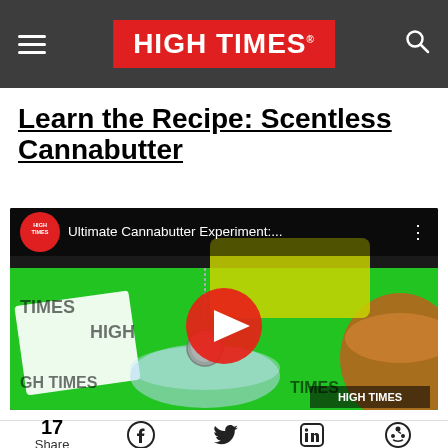HIGH TIMES
Learn the Recipe: Scentless Cannabutter
[Figure (screenshot): YouTube video thumbnail showing 'Ultimate Cannabutter Experiment:...' with High Times branding, showing a person in yellow shirt working with cannabis straining equipment over a bowl on a High Times branded green tablecloth. A red play button is centered on the video.]
17 Share